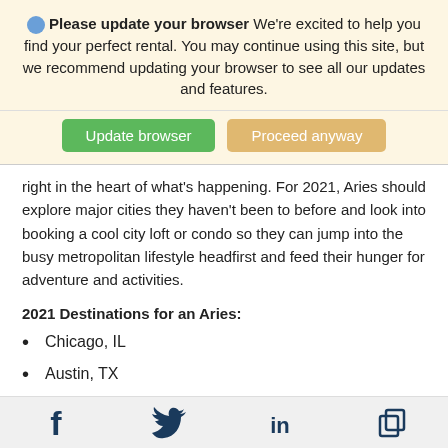Please update your browser We're excited to help you find your perfect rental. You may continue using this site, but we recommend updating your browser to see all our updates and features.
[Figure (screenshot): Two buttons: green 'Update browser' and orange 'Proceed anyway']
right in the heart of what's happening. For 2021, Aries should explore major cities they haven't been to before and look into booking a cool city loft or condo so they can jump into the busy metropolitan lifestyle headfirst and feed their hunger for adventure and activities.
2021 Destinations for an Aries:
Chicago, IL
Austin, TX
Portland, OR
Social share icons: Facebook, Twitter, LinkedIn, Copy